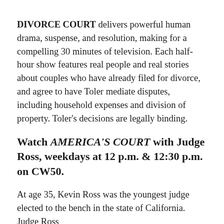DIVORCE COURT delivers powerful human drama, suspense, and resolution, making for a compelling 30 minutes of television. Each half-hour show features real people and real stories about couples who have already filed for divorce, and agree to have Toler mediate disputes, including household expenses and division of property. Toler's decisions are legally binding.
Watch AMERICA'S COURT with Judge Ross, weekdays at 12 p.m. & 12:30 p.m. on CW50.
At age 35, Kevin Ross was the youngest judge elected to the bench in the state of California. Judge Ross